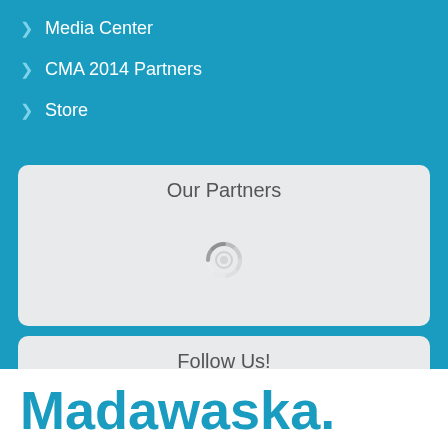Media Center
CMA 2014 Partners
Store
Our Partners
[Figure (other): Loading spinner icon in gray]
Follow Us!
Madawaska.